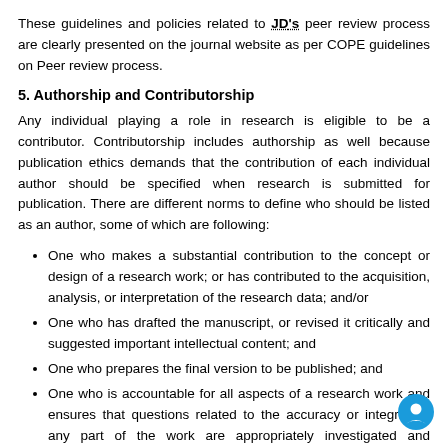These guidelines and policies related to JD's peer review process are clearly presented on the journal website as per COPE guidelines on Peer review process.
5. Authorship and Contributorship
Any individual playing a role in research is eligible to be a contributor. Contributorship includes authorship as well because publication ethics demands that the contribution of each individual author should be specified when research is submitted for publication. There are different norms to define who should be listed as an author, some of which are following:
One who makes a substantial contribution to the concept or design of a research work; or has contributed to the acquisition, analysis, or interpretation of the research data; and/or
One who has drafted the manuscript, or revised it critically and suggested important intellectual content; and
One who prepares the final version to be published; and
One who is accountable for all aspects of a research work and ensures that questions related to the accuracy or integrity of any part of the work are appropriately investigated and resolved.
In addition, we encourage authors to list names(s) of individuals who assisted in the completion of the manuscript in the Acknowledgments section